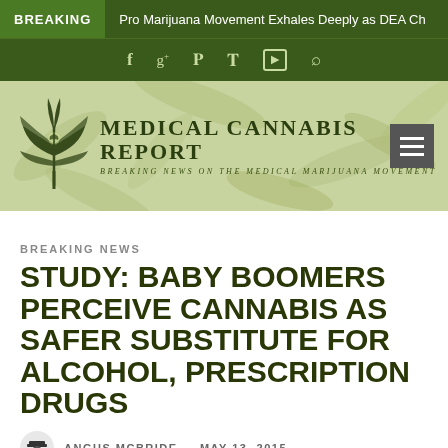BREAKING  Pro Marijuana Movement Exhales Deeply as DEA Ch
[Figure (logo): Medical Cannabis Report logo with cannabis leaf and caduceus icon, text: MEDICAL CANNABIS REPORT, subtitle: Breaking News On The Medical Marijuana Movement]
BREAKING NEWS
STUDY: BABY BOOMERS PERCEIVE CANNABIS AS SAFER SUBSTITUTE FOR ALCOHOL, PRESCRIPTION DRUGS
ANGUS MCBRIDE  -  MAY 13, 2015